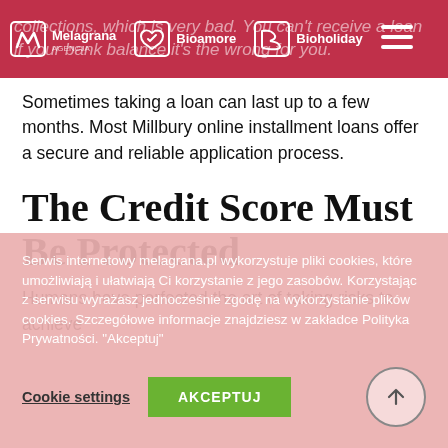collections, which is very bad. You can't receive a loan if your bank balance is the wrong for you. [Melagrana | Bioamore | Bioholiday logos]
Sometimes taking a loan can last up to a few months. Most Millbury online installment loans offer a secure and reliable application process.
The Credit Score Must Be Protected
Humans have perfected the art of taking risks to achieve
Serwis internetowy melagrana.pl wykorzystuje pliki cookies, które umożliwiają i ułatwiają Ci korzystanie z jego zasobów. Korzystając z serwisu wyrażasz jednocześnie zgodę na wykorzystanie plików cookies. Szczegółowe informacje znajdziesz w zakładce Polityka Prywatności. "Akceptuj"
Cookie settings   AKCEPTUJ